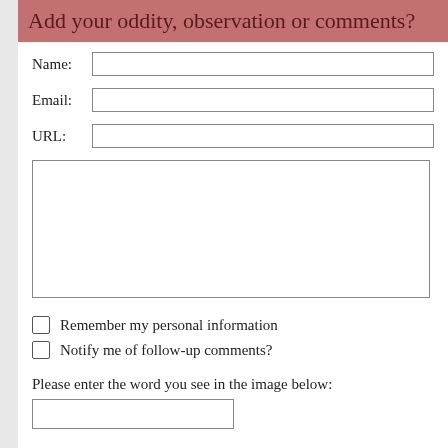Add your oddity, observation or comments?
Name:
Email:
URL:
Remember my personal information
Notify me of follow-up comments?
Please enter the word you see in the image below: